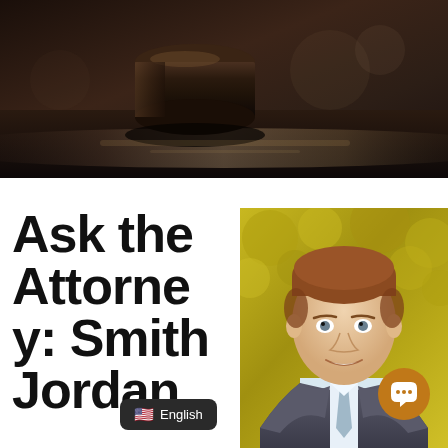[Figure (photo): Dark close-up photo of a judge's gavel on a table, blurred background with light reflections]
Ask the Attorney: Smith Jordan
[Figure (photo): Professional headshot of a young man with short auburn hair, wearing a grey suit and light blue tie, smiling, with yellow-green foliage in the background]
English